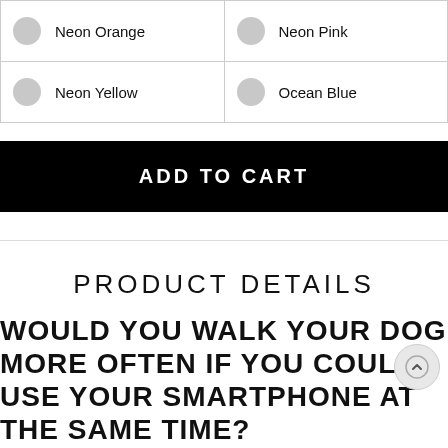| Neon Orange | Neon Pink |
| Neon Yellow | Ocean Blue |
ADD TO CART
PRODUCT DETAILS
WOULD YOU WALK YOUR DOG MORE OFTEN IF YOU COULD USE YOUR SMARTPHONE AT THE SAME TIME?
According to a 2012 survey conducted by the Association